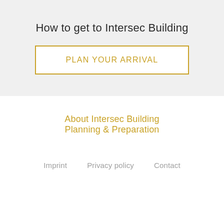How to get to Intersec Building
PLAN YOUR ARRIVAL
About Intersec Building
Planning & Preparation
Imprint   Privacy policy   Contact